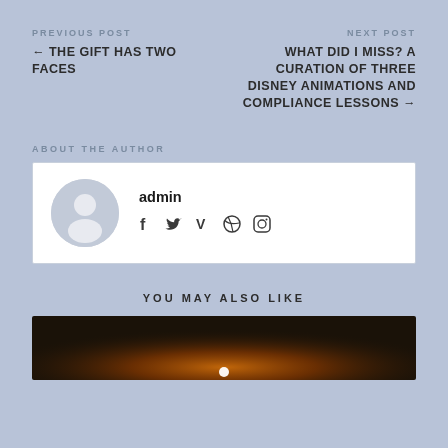PREVIOUS POST
← THE GIFT HAS TWO FACES
NEXT POST
WHAT DID I MISS? A CURATION OF THREE DISNEY ANIMATIONS AND COMPLIANCE LESSONS →
ABOUT THE AUTHOR
admin
YOU MAY ALSO LIKE
[Figure (photo): Sunset or sunrise photo with orange/golden glow and bright light spot on horizon]